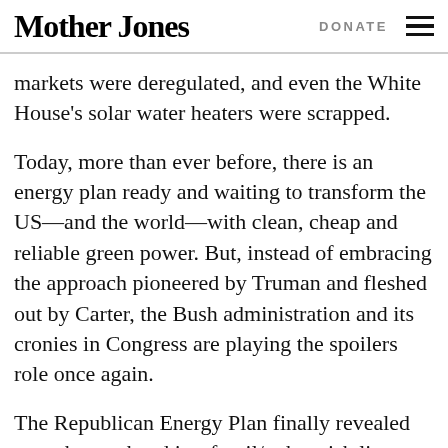Mother Jones | DONATE
markets were deregulated, and even the White House's solar water heaters were scrapped.
Today, more than ever before, there is an energy plan ready and waiting to transform the US—and the world—with clean, cheap and reliable green power. But, instead of embracing the approach pioneered by Truman and fleshed out by Carter, the Bush administration and its cronies in Congress are playing the spoilers role once again.
The Republican Energy Plan finally revealed over the weekend is a fossil/nuke wish list. And, make no mistake, this bill is a pure partisan play. It was first drafted in secret by Dick Cheney's industry-cozy